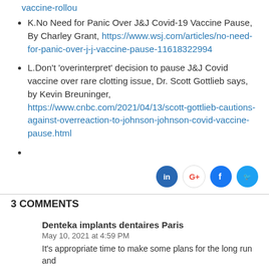vaccine-rollou
K.No Need for Panic Over J&J Covid-19 Vaccine Pause, By Charley Grant, https://www.wsj.com/articles/no-need-for-panic-over-j-j-vaccine-pause-11618322994
L.Don't 'overinterpret' decision to pause J&J Covid vaccine over rare clotting issue, Dr. Scott Gottlieb says, by Kevin Breuninger, https://www.cnbc.com/2021/04/13/scott-gottlieb-cautions-against-overreaction-to-johnson-johnson-covid-vaccine-pause.html
[Figure (infographic): Social media sharing icons for LinkedIn, Google+, Facebook, and Twitter]
3 COMMENTS
Denteka implants dentaires Paris
May 10, 2021 at 4:59 PM
It's appropriate time to make some plans for the long run and